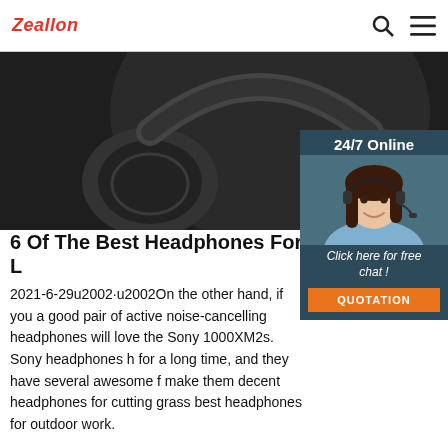Zeallon
[Figure (photo): Close-up photo of black over-ear headphones on dark background]
[Figure (photo): 24/7 Online chat widget with a female customer service representative wearing a headset, with 'Click here for free chat!' text and QUOTATION button]
6 Of The Best Headphones For Mowing The L
2021-6-29u2002·u2002On the other hand, if you a good pair of active noise-cancelling headphones will love the Sony 1000XM2s. Sony headphones h for a long time, and they have several awesome f make them decent headphones for cutting grass best headphones for outdoor work.
Get Price